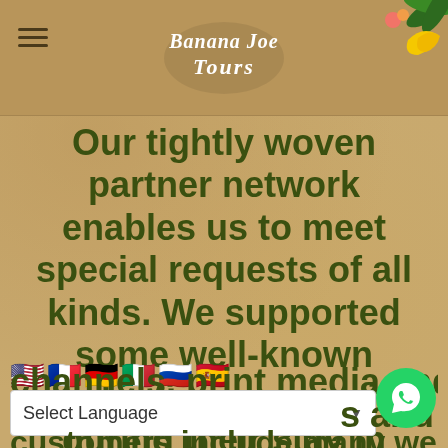[Figure (logo): Banana Joe Tours handwritten logo in white script on sandy header background]
[Figure (illustration): Tropical fruits and leaves decoration in top-right corner]
Our tightly woven partner network enables us to meet special requests of all kinds. We supported some well-known production companies during their stay in Florida and have received awards from various television channels, print media and online
[Figure (infographic): Row of country flag emojis: US, France, Germany, Italy, Russia, Spain]
Select Language
s and
customers include many well